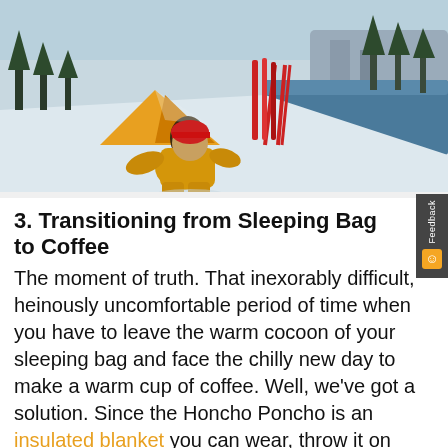[Figure (photo): Person in yellow jacket and red hat sitting in snow next to an orange tent beside a mountain lake, with ski poles in the background and snow-covered trees]
3. Transitioning from Sleeping Bag to Coffee
The moment of truth. That inexorably difficult, heinously uncomfortable period of time when you have to leave the warm cocoon of your sleeping bag and face the chilly new day to make a warm cup of coffee. Well, we've got a solution. Since the Honcho Poncho is an insulated blanket you can wear, throw it on first, before you leave the proverbial nest, and